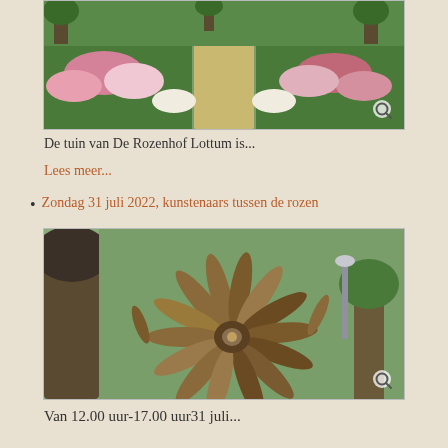[Figure (photo): Top-down view of a rose garden at De Rozenhof Lottum with colorful rose bushes, green hedges and paths, with a magnifying glass search icon in the bottom right corner.]
De tuin van De Rozenhof Lottum is...
Lees meer...
Zondag 31 juli 2022, kunstenaars tussen de rozen
[Figure (photo): Close-up photo of a large decorative metal flower sculpture with brown/copper feather-like petals in an outdoor garden setting, with a magnifying glass search icon in the bottom right corner.]
Van 12.00 uur-17.00 uur31 juli...